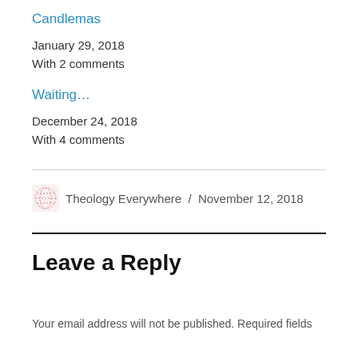Candlemas
January 29, 2018
With 2 comments
Waiting…
December 24, 2018
With 4 comments
Theology Everywhere / November 12, 2018
Leave a Reply
Your email address will not be published. Required fields